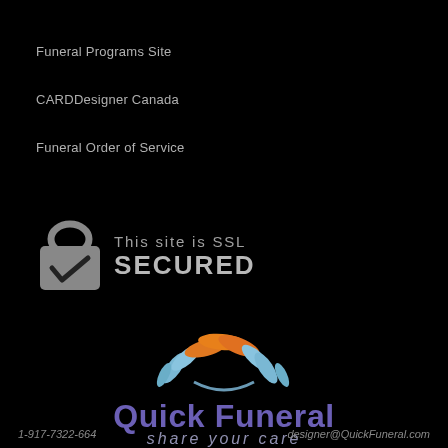Funeral Programs Site
CARDDesigner Canada
Funeral Order of Service
[Figure (logo): SSL secured badge with padlock icon and checkmark, text: This site is SSL SECURED]
[Figure (logo): Quick Funeral logo with lotus flower made of orange and light blue petals]
Quick Funeral
share your care
1-917-7322-664   designer@QuickFuneral.com